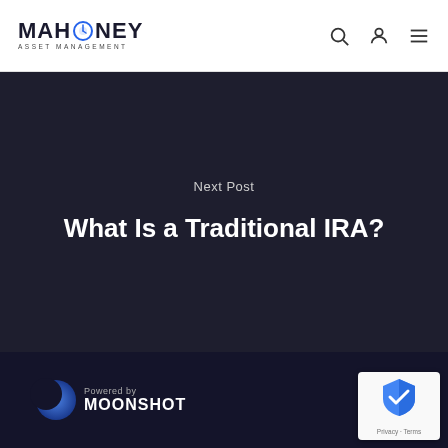MAHONEY ASSET MANAGEMENT
Next Post
What Is a Traditional IRA?
Powered by MOONSHOT